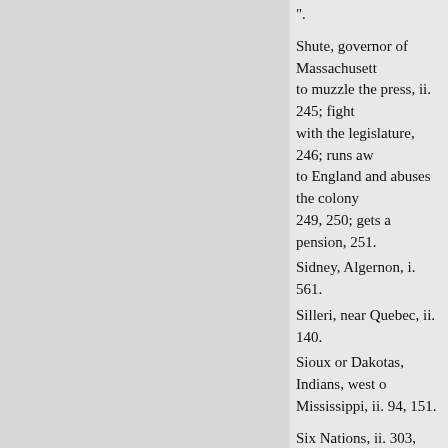".
Shute, governor of Massachusetts; to muzzle the press, ii. 245; fight with the legislature, 246; runs aw to England and abuses the colony; 249, 250; gets a pension, 251.
Sidney, Algernon, i. 561.
Silleri, near Quebec, ii. 140.
Sioux or Dakotas, Indians, west of Mississippi, ii. 94, 151.
Six Nations, ii. 303, 333, 335, 33 Tuscaroras and Iroquois); give up title to western lands, vi. 283. Se Five Nations.
Skelton, Samuel, i. 226; reordain the congregational form, 228, 24
Skepticism of the age, results (1 373.
Skinner, Cortland, of New Jersey troops for the British army, v. 14
Slavery, spread of, in early tim